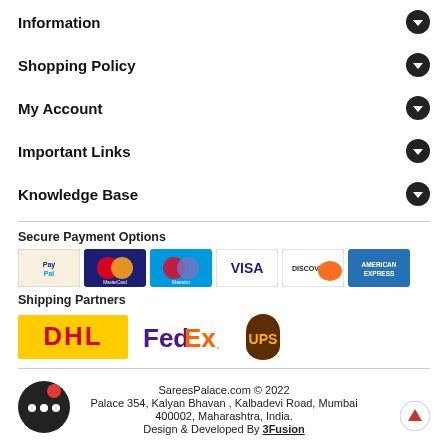Information
Shopping Policy
My Account
Important Links
Knowledge Base
Secure Payment Options
[Figure (logo): Payment method logos: PayPal, MasterCard, Maestro, Visa, Discover, American Express]
Shipping Partners
[Figure (logo): Shipping partner logos: DHL, FedEx, UPS]
SareesPalace.com © 2022 Palace 354, Kalyan Bhavan , Kalbadevi Road, Mumbai 400002, Maharashtra, India. Design & Developed By 3Fusion